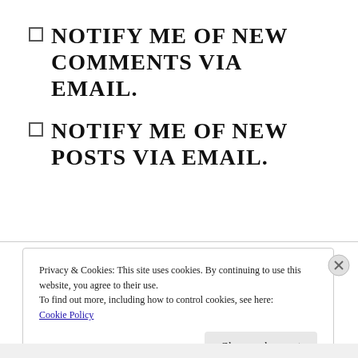NOTIFY ME OF NEW COMMENTS VIA EMAIL.
NOTIFY ME OF NEW POSTS VIA EMAIL.
Privacy & Cookies: This site uses cookies. By continuing to use this website, you agree to their use.
To find out more, including how to control cookies, see here: Cookie Policy
Close and accept